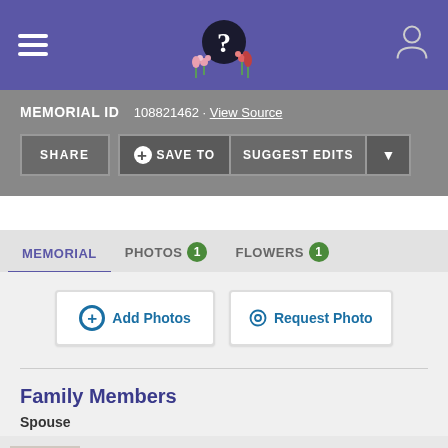FindAGrave memorial page header with logo and navigation
MEMORIAL ID   108821462 · View Source
SHARE   + SAVE TO   SUGGEST EDITS
MEMORIAL   PHOTOS 1   FLOWERS 1
+ Add Photos   Request Photo
Family Members
Spouse
Thelma Pilchard Dayton
1917–1955